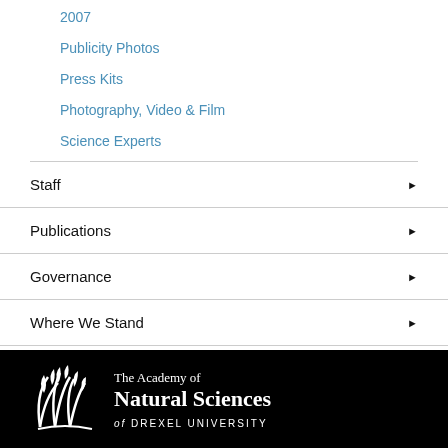2007
Publicity Photos
Press Kits
Photography, Video & Film
Science Experts
Staff
Publications
Governance
Where We Stand
Jobs and Opportunities
The Academy of Natural Sciences of Drexel University